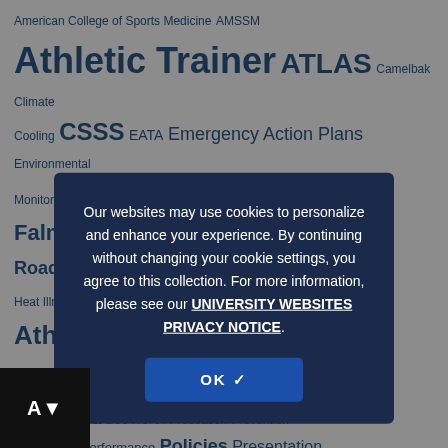[Figure (infographic): Tag cloud of sports medicine and athletic training topics including Athletic Trainer, ATLAS, CSSS, Exertional Heat Stroke, NATA, Preventing Sudden Death in Sport, Sport Safety, and many more, displayed in varying font sizes in blue on white background.]
Our websites may use cookies to personalize and enhance your experience. By continuing without changing your cookie settings, you agree to this collection. For more information, please see our UNIVERSITY WEBSITES PRIVACY NOTICE.
OK ✓